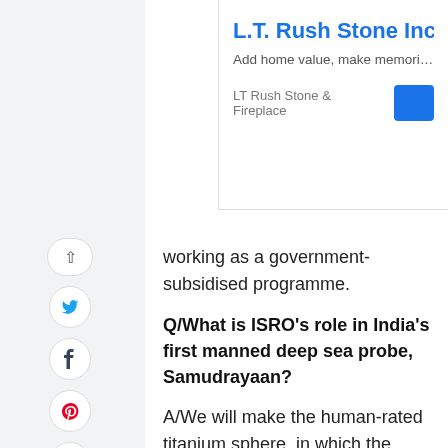[Figure (screenshot): L.T. Rush Stone Inc advertisement banner in top right corner with blue title text, subtitle 'Add home value, make memories', brand name 'LT Rush Stone & Fireplace', and a blue button]
working as a government-subsidised programme.
Q/What is ISRO's role in India's first manned deep sea probe, Samudrayaan?
A/We will make the human-rated titanium sphere, in which the team can descend to a depth of 6,000 metres. It will be two metres in diameter and made of titanium. When we learnt that National Institute of Ocean Technology (NIOT) was looking for a shell manufacturer, I offered that ISRO team up. K. VijayRaghavan, the principal scientific advisor to the government of India, liked our proposal and we got the